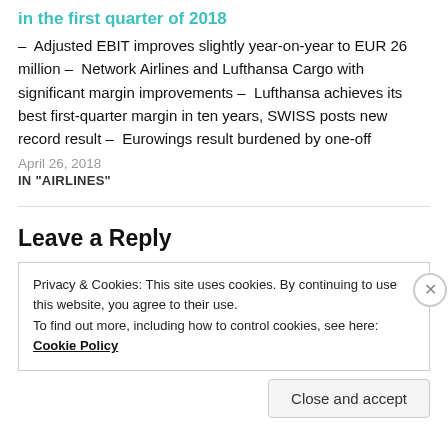in the first quarter of 2018
– Adjusted EBIT improves slightly year-on-year to EUR 26 million – Network Airlines and Lufthansa Cargo with significant margin improvements – Lufthansa achieves its best first-quarter margin in ten years, SWISS posts new record result – Eurowings result burdened by one-off
April 26, 2018
IN "AIRLINES"
Leave a Reply
Privacy & Cookies: This site uses cookies. By continuing to use this website, you agree to their use.
To find out more, including how to control cookies, see here: Cookie Policy
Close and accept